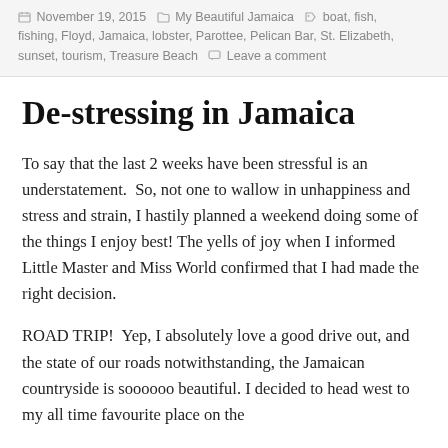November 19, 2015  My Beautiful Jamaica  boat, fish, fishing, Floyd, Jamaica, lobster, Parottee, Pelican Bar, St. Elizabeth, sunset, tourism, Treasure Beach  Leave a comment
De-stressing in Jamaica
To say that the last 2 weeks have been stressful is an understatement.  So, not one to wallow in unhappiness and stress and strain, I hastily planned a weekend doing some of the things I enjoy best! The yells of joy when I informed Little Master and Miss World confirmed that I had made the right decision.
ROAD TRIP!  Yep, I absolutely love a good drive out, and the state of our roads notwithstanding, the Jamaican countryside is soooooo beautiful. I decided to head west to my all time favourite place on the island. Mostly. However, this time also to y favourite T...